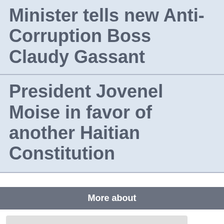Minister tells new Anti-Corruption Boss Claudy Gassant
President Jovenel Moise in favor of another Haitian Constitution
More about
President Jovenel Moise
System Peze Souse Haiti